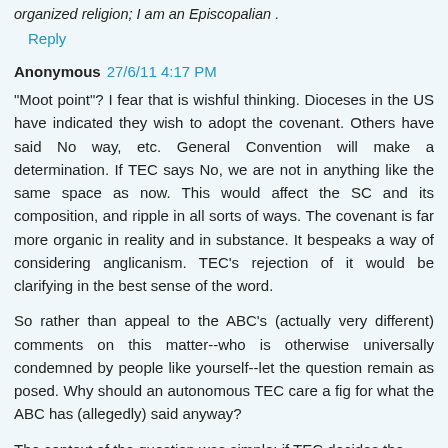organized religion; I am an Episcopalian .
Reply
Anonymous 27/6/11 4:17 PM
"Moot point"? I fear that is wishful thinking. Dioceses in the US have indicated they wish to adopt the covenant. Others have said No way, etc. General Convention will make a determination. If TEC says No, we are not in anything like the same space as now. This would affect the SC and its composition, and ripple in all sorts of ways. The covenant is far more organic in reality and in substance. It bespeaks a way of considering anglicanism. TEC's rejection of it would be clarifying in the best sense of the word.
So rather than appeal to the ABC's (actually very different) comments on this matter--who is otherwise universally condemned by people like yourself--let the question remain as posed. Why should an autonomous TEC care a fig for what the ABC has (allegedly) said anyway?
The context of the question was simple: if TEC decides the